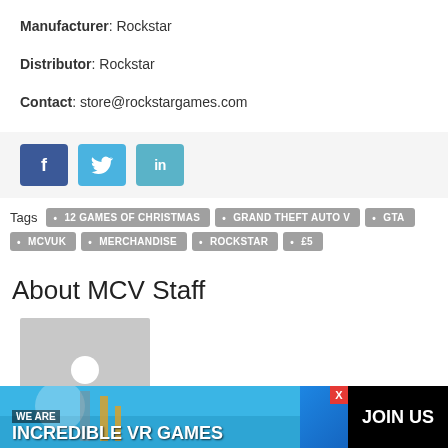Manufacturer: Rockstar
Distributor: Rockstar
Contact: store@rockstargames.com
[Figure (other): Social share buttons: Facebook (blue), Twitter (light blue), LinkedIn (teal)]
Tags • 12 GAMES OF CHRISTMAS • GRAND THEFT AUTO V • GTA • MCVUK • MERCHANDISE • ROCKSTAR • £5
About MCV Staff
[Figure (photo): Default avatar placeholder image - grey background with white circle person silhouette]
[Figure (infographic): Advertisement banner: WE ARE INCREDIBLE VR GAMES JOIN US]